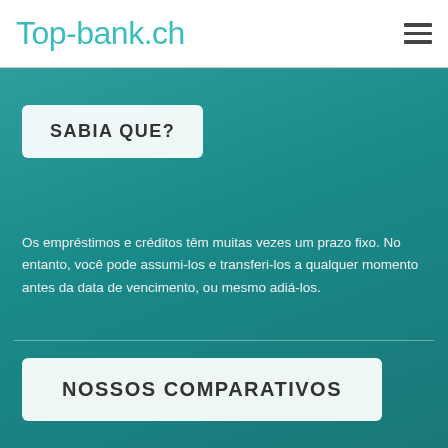Top-bank.ch
SABIA QUE?
Os empréstimos e créditos têm muitas vezes um prazo fixo. No entanto, você pode assumi-los e transferi-los a qualquer momento antes da data de vencimento, ou mesmo adiá-los.
NOSSOS COMPARATIVOS